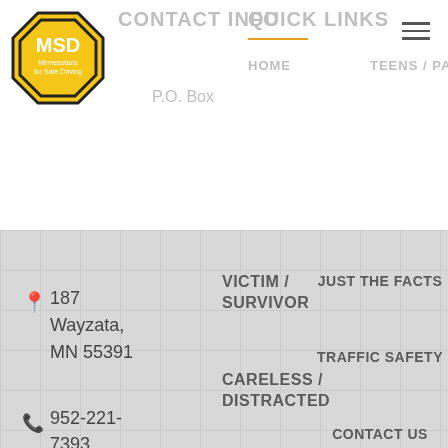[Figure (logo): MSD Minnesotans for Safe Driving logo — yellow octagon with black border and MSD text]
CONTACT INFO
QUICK LINKS
HOME
TEENS / PARENTS
P.O. Box
187
Wayzata,
MN 55391
952-221-7393
VICTIM / SURVIVOR
CARELESS / DISTRACTED
DRUNK & DRUGGED
JUST THE FACTS
TRAFFIC SAFETY
CONTACT US
Copyright © 2022 MNSafeDriving. Designed by ProW